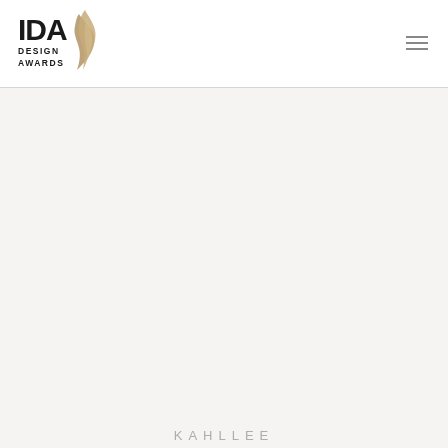[Figure (logo): IDA Design Awards logo with stylized bird/leaf shape in gold/tan color next to bold IDA text and DESIGN AWARDS subtitle]
KAHLLEE